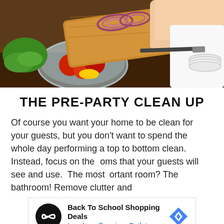[Figure (photo): Person preparing food, sliding sliced onions from a wooden cutting board into a glass bowl filled with tomatoes and vegetables on a kitchen counter]
THE PRE-PARTY CLEAN UP
Of course you want your home to be clean for your guests, but you don't want to spend the whole day performing a top to bottom clean.  Instead, focus on the rooms that your guests will see and use.  The most important room? The bathroom! Remove clutter and
[Figure (infographic): Advertisement: Back To School Shopping Deals - Leesburg Premium Outlets, with infinity loop logo and navigation map icon]